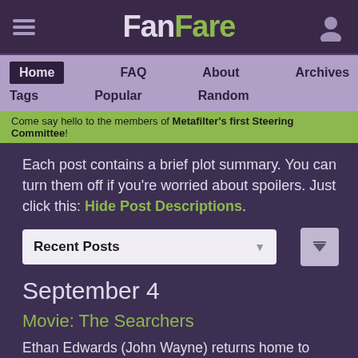FanFare
Home  FAQ  About  Archives  Tags  Popular  Random
Come say hello to the members of Metafilter's first Steering Committee!
Each post contains a brief plot summary. You can turn them off if you're worried about spoilers. Just click this: Hide Post Descriptions.
Recent Posts
September 4
Movie: The Searchers
Ethan Edwards (John Wayne) returns home to Texas after the Civil War. When members of his brother's family are killed, he sets out to...